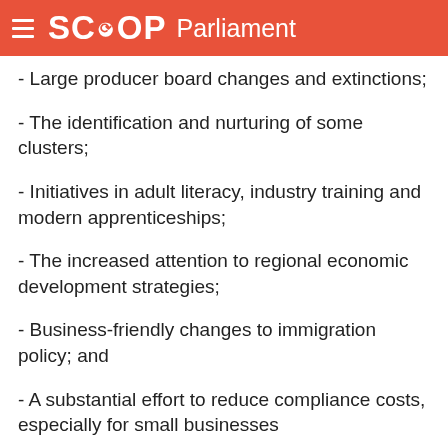SCOOP Parliament
- Large producer board changes and extinctions;
- The identification and nurturing of some clusters;
- Initiatives in adult literacy, industry training and modern apprenticeships;
- The increased attention to regional economic development strategies;
- Business-friendly changes to immigration policy; and
- A substantial effort to reduce compliance costs, especially for small businesses...